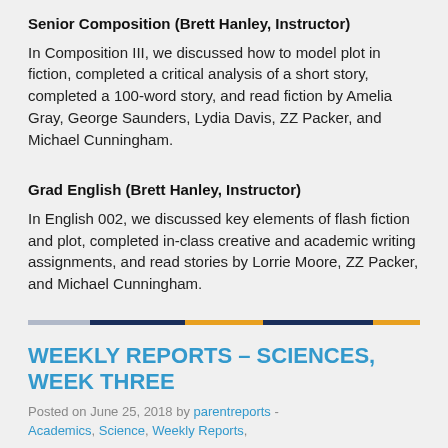Senior Composition (Brett Hanley, Instructor)
In Composition III, we discussed how to model plot in fiction, completed a critical analysis of a short story, completed a 100-word story, and read fiction by Amelia Gray, George Saunders, Lydia Davis, ZZ Packer, and Michael Cunningham.
Grad English (Brett Hanley, Instructor)
In English 002, we discussed key elements of flash fiction and plot, completed in-class creative and academic writing assignments, and read stories by Lorrie Moore, ZZ Packer, and Michael Cunningham.
[Figure (infographic): Horizontal divider bar made of colored segments: light blue, dark navy, orange/gold, dark navy, orange/gold]
WEEKLY REPORTS – SCIENCES, WEEK THREE
Posted on June 25, 2018 by parentreports - Academics, Science, Weekly Reports,